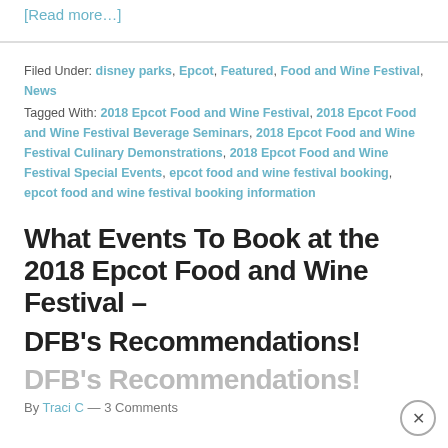[Read more…]
Filed Under: disney parks, Epcot, Featured, Food and Wine Festival, News
Tagged With: 2018 Epcot Food and Wine Festival, 2018 Epcot Food and Wine Festival Beverage Seminars, 2018 Epcot Food and Wine Festival Culinary Demonstrations, 2018 Epcot Food and Wine Festival Special Events, epcot food and wine festival booking, epcot food and wine festival booking information
What Events To Book at the 2018 Epcot Food and Wine Festival – DFB's Recommendations!
By Traci C — 3 Comments